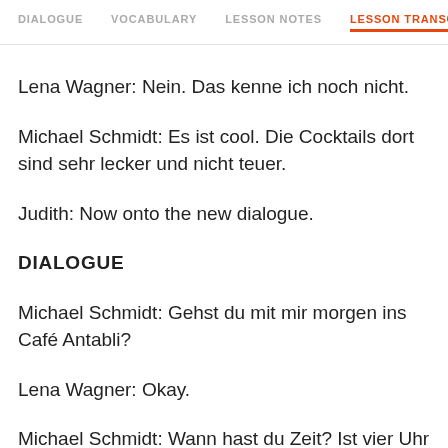DIALOGUE  VOCABULARY  LESSON NOTES  LESSON TRANSCRIPT
Lena Wagner: Nein. Das kenne ich noch nicht.
Michael Schmidt: Es ist cool. Die Cocktails dort sind sehr lecker und nicht teuer.
Judith: Now onto the new dialogue.
DIALOGUE
Michael Schmidt: Gehst du mit mir morgen ins Café Antabli?
Lena Wagner: Okay.
Michael Schmidt: Wann hast du Zeit? Ist vier Uhr gut?
Lena Wagner: Mir ist das egal. Du entscheidest.